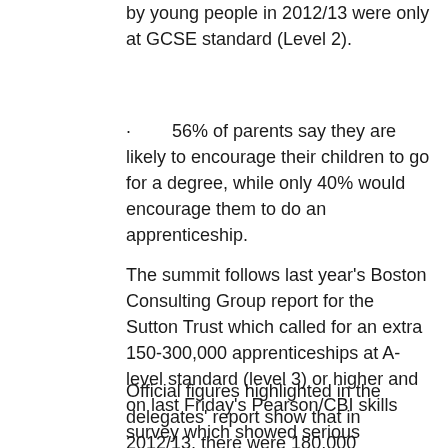by young people in 2012/13 were only at GCSE standard (Level 2).
56% of parents say they are likely to encourage their children to go for a degree, while only 40% would encourage them to do an apprenticeship.
The summit follows last year's Boston Consulting Group report for the Sutton Trust which called for an extra 150-300,000 apprenticeships at A-level standard (level 3) or higher and on last Friday's Pearson/CBI skills survey which showed serious concerns among employers about recruiting apprentices, graduates and technicians particularly in scientific or engineering roles.
Official figures highlighted in the delegates' report show that in 2012/13, there were 180,000 apprenticeship starts for 16-24 year-olds to GCSE standard (intermediate), 97,000 to A-level standard